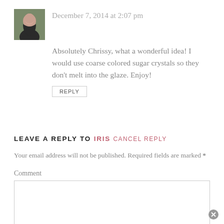December 7, 2014 at 2:07 pm
Absolutely Chrissy, what a wonderful idea! I would use coarse colored sugar crystals so they don't melt into the glaze. Enjoy!
REPLY
LEAVE A REPLY TO IRIS CANCEL REPLY
Your email address will not be published. Required fields are marked *
Comment